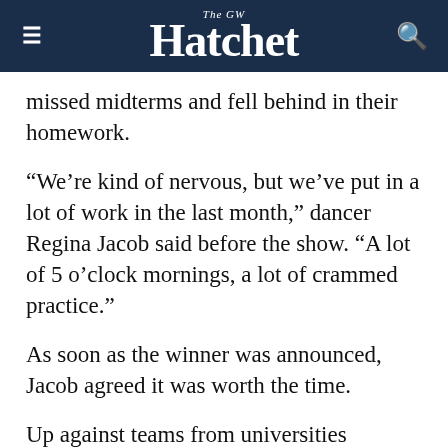The GW Hatchet
missed midterms and fell behind in their homework.
“We’re kind of nervous, but we’ve put in a lot of work in the last month,” dancer Regina Jacob said before the show. “A lot of 5 o’clock mornings, a lot of crammed practice.”
As soon as the winner was announced, Jacob agreed it was worth the time.
Up against teams from universities including Georgetown University, George Mason University and the University of Pittsburgh, the GW Raas team impressed judges with a routine